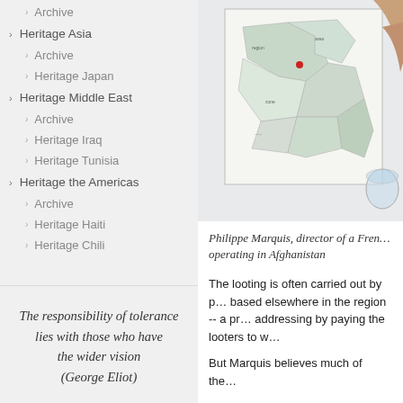Archive
Heritage Asia
Archive
Heritage Japan
Heritage Middle East
Archive
Heritage Iraq
Heritage Tunisia
Heritage the Americas
Archive
Heritage Haiti
Heritage Chili
The responsibility of tolerance lies with those who have the wider vision (George Eliot)
[Figure (photo): Person pointing at a map of Afghanistan on a wall]
Philippe Marquis, director of a French archaeological mission operating in Afghanistan
The looting is often carried out by people based elsewhere in the region -- a problem he is addressing by paying the looters to work...
But Marquis believes much of the...